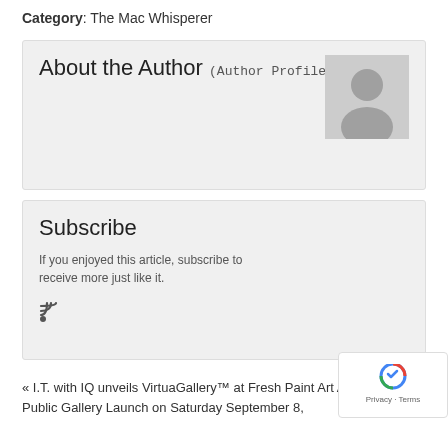Category: The Mac Whisperer
About the Author (Author Profile)
[Figure (illustration): Default author avatar placeholder - grey silhouette of a person on grey background]
Subscribe
If you enjoyed this article, subscribe to receive more just like it.
[Figure (other): RSS feed icon]
« I.T. with IQ unveils VirtuaGallery™ at Fresh Paint Art Advisors new Public Gallery Launch on Saturday September 8,